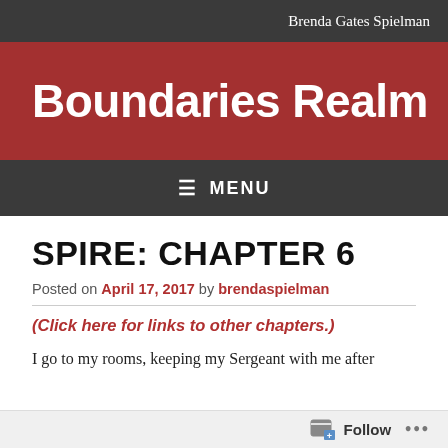Brenda Gates Spielman
Boundaries Realm
≡ MENU
SPIRE: CHAPTER 6
Posted on April 17, 2017 by brendaspielman
(Click here for links to other chapters.)
I go to my rooms, keeping my Sergeant with me after